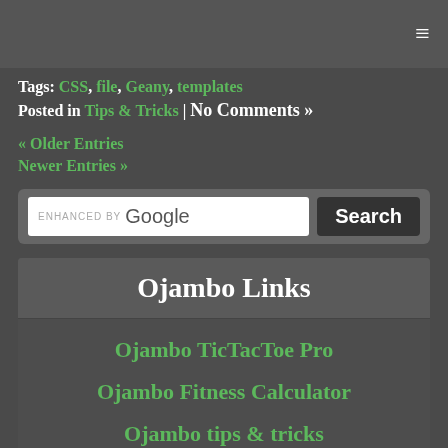Tags: CSS, file, Geany, templates
Posted in Tips & Tricks | No Comments »
« Older Entries
Newer Entries »
[Figure (screenshot): Google search bar with 'ENHANCED BY Google' label and Search button]
Ojambo Links
Ojambo TicTacToe Pro
Ojambo Fitness Calculator
Ojambo tips & tricks
Ojambo videos
Ojamboshop